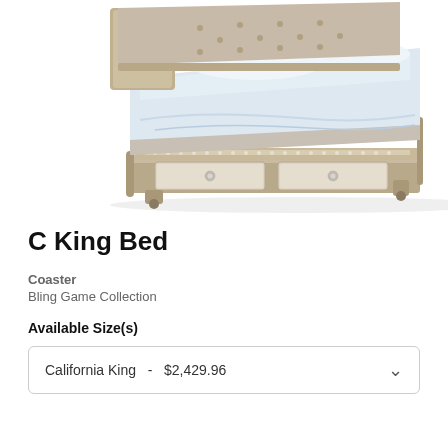[Figure (photo): A California King bed with a silver/champagne upholstered headboard with tufted button detail, white bedding, and a footboard with two drawers pulled open slightly, showing crystal-like knobs. The bed frame has a metallic silver finish with decorative trim.]
C King Bed
Coaster
Bling Game Collection
Available Size(s)
California King  -  $2,429.96